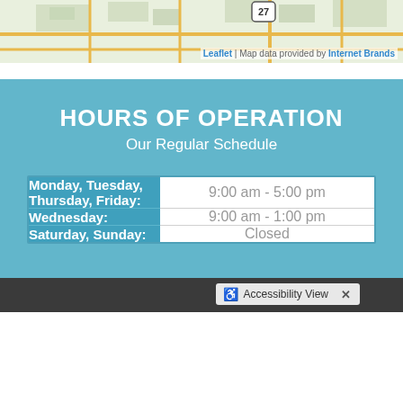[Figure (map): Street map snippet with road grid and route 27 marker, with Leaflet/Internet Brands credit]
HOURS OF OPERATION
Our Regular Schedule
| Day | Hours |
| --- | --- |
| Monday, Tuesday, Thursday, Friday: | 9:00 am - 5:00 pm |
| Wednesday: | 9:00 am - 1:00 pm |
| Saturday, Sunday: | Closed |
Accessibility View